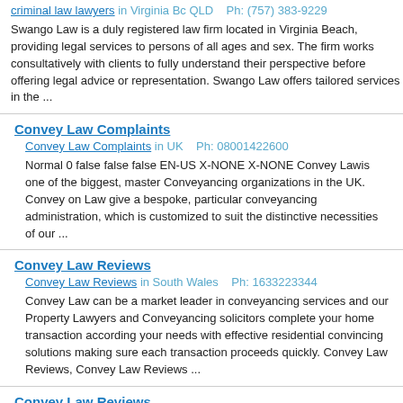criminal law lawyers in Virginia Bc QLD    Ph: (757) 383-9229
Swango Law is a duly registered law firm located in Virginia Beach, providing legal services to persons of all ages and sex. The firm works consultatively with clients to fully understand their perspective before offering legal advice or representation. Swango Law offers tailored services in the ...
Convey Law Complaints
Convey Law Complaints in UK    Ph: 08001422600
Normal 0 false false false EN-US X-NONE X-NONE Convey Lawis one of the biggest, master Conveyancing organizations in the UK. Convey on Law give a bespoke, particular conveyancing administration, which is customized to suit the distinctive necessities of our ...
Convey Law Reviews
Convey Law Reviews in South Wales    Ph: 1633223344
Convey Law can be a market leader in conveyancing services and our Property Lawyers and Conveyancing solicitors complete your home transaction according your needs with effective residential convincing solutions making sure each transaction proceeds quickly. Convey Law Reviews, Convey Law Reviews ...
Convey Law Reviews
Convey Law Reviews in South Wales    Ph: 8458051068
Convey Law could be a market place leader in conveyancing services and